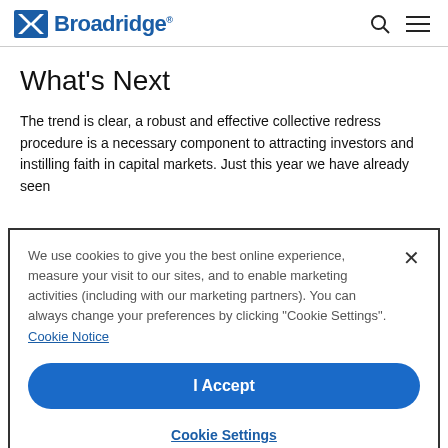Broadridge
What's Next
The trend is clear, a robust and effective collective redress procedure is a necessary component to attracting investors and instilling faith in capital markets. Just this year we have already seen
We use cookies to give you the best online experience, measure your visit to our sites, and to enable marketing activities (including with our marketing partners). You can always change your preferences by clicking “Cookie Settings”. Cookie Notice
I Accept
Cookie Settings